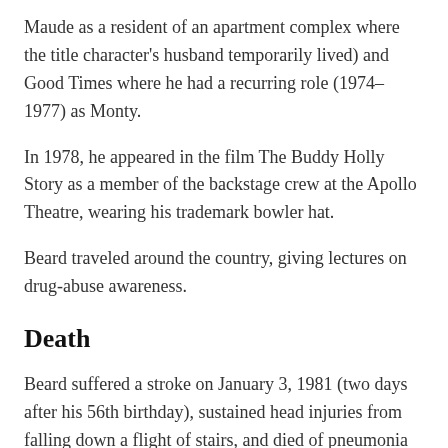Maude as a resident of an apartment complex where the title character's husband temporarily lived) and Good Times where he had a recurring role (1974–1977) as Monty.
In 1978, he appeared in the film The Buddy Holly Story as a member of the backstage crew at the Apollo Theatre, wearing his trademark bowler hat.
Beard traveled around the country, giving lectures on drug-abuse awareness.
Death
Beard suffered a stroke on January 3, 1981 (two days after his 56th birthday), sustained head injuries from falling down a flight of stairs, and died of pneumonia on January 8, 1981. He was living in Los Angeles at the time of his death.